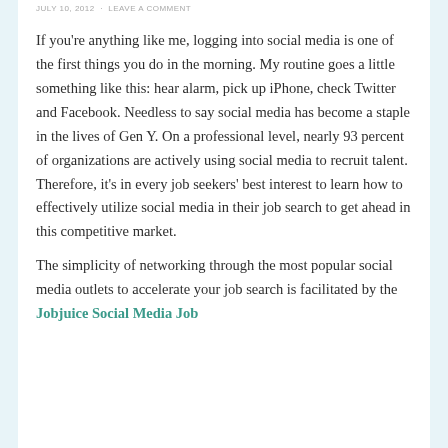JULY 10, 2012 · LEAVE A COMMENT
If you're anything like me, logging into social media is one of the first things you do in the morning. My routine goes a little something like this: hear alarm, pick up iPhone, check Twitter and Facebook. Needless to say social media has become a staple in the lives of Gen Y. On a professional level, nearly 93 percent of organizations are actively using social media to recruit talent. Therefore, it's in every job seekers' best interest to learn how to effectively utilize social media in their job search to get ahead in this competitive market.
The simplicity of networking through the most popular social media outlets to accelerate your job search is facilitated by the Jobjuice Social Media Job